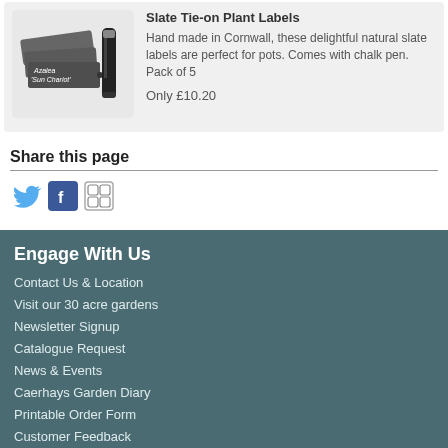[Figure (photo): Slate tie-on plant labels with chalk writing, shown with a chalk pen]
Slate Tie-on Plant Labels
Hand made in Cornwall, these delightful natural slate labels are perfect for pots. Comes with chalk pen. Pack of 5
Only £10.20
Share this page
[Figure (other): Social media icons: Twitter (bird), Facebook (f), and a sharing icon]
Engage With Us
Contact Us & Location
Visit our 30 acre gardens
Newsletter Signup
Catalogue Request
News & Events
Caerhays Garden Diary
Printable Order Form
Customer Feedback